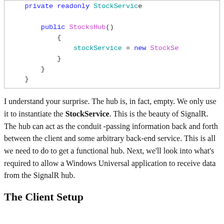[Figure (screenshot): Code snippet showing C# constructor for StocksHub class with stockService instantiation]
I understand your surprise. The hub is, in fact, empty. We only use it to instantiate the StockService. This is the beauty of SignalR. The hub can act as the conduit -passing information back and forth between the client and some arbitrary back-end service. This is all we need to do to get a functional hub. Next, we'll look into what's required to allow a Windows Universal application to receive data from the SignalR hub.
The Client Setup